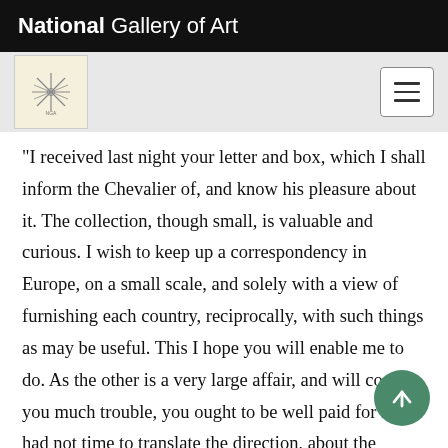National Gallery of Art
[Figure (logo): National Gallery of Art navigation bar with decorative logo icon on left and hamburger menu button on right]
"I received last night your letter and box, which I shall inform the Chevalier of, and know his pleasure about it. The collection, though small, is valuable and curious. I wish to keep up a correspondency in Europe, on a small scale, and solely with a view of furnishing each country, reciprocally, with such things as may be useful. This I hope you will enable me to do. As the other is a very large affair, and will cost you much trouble, you ought to be well paid for it. I had not time to translate the direction, about the manner of preserving the seeds: you must therefore— when you have perused it— send it